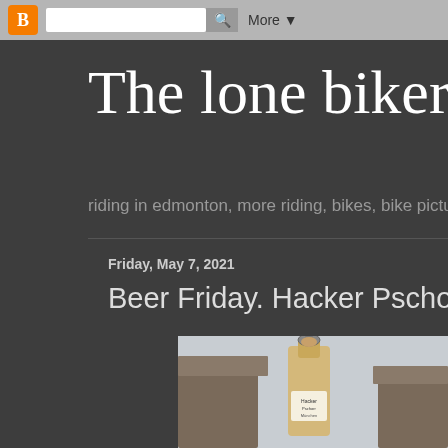Blogger navigation bar with search box and More button
The lone biker
riding in edmonton, more riding, bikes, bike pictur
Friday, May 7, 2021
Beer Friday. Hacker Pschorr, Munich G
[Figure (photo): A beer bottle (Hacker Pschorr) with a swing-top cork closure, photographed against a light sky with a tiled/stone structure visible behind it]